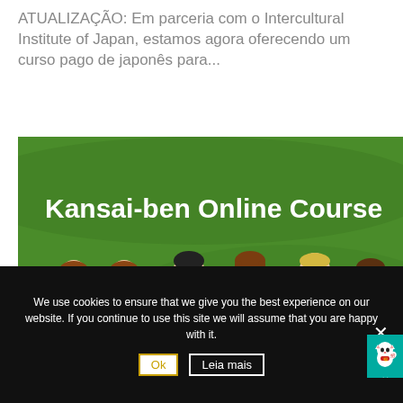ATUALIZAÇÃO: Em parceria com o Intercultural Institute of Japan, estamos agora oferecendo um curso pago de japonês para...
[Figure (illustration): Kansai-ben Online Course banner with green background showing 6 illustrated characters and 'APRENDER JAPONÊS' red badge, with teal sidebar showing a lucky cat icon and 'Fale C' text]
We use cookies to ensure that we give you the best experience on our website. If you continue to use this site we will assume that you are happy with it.
Ok   Leia mais